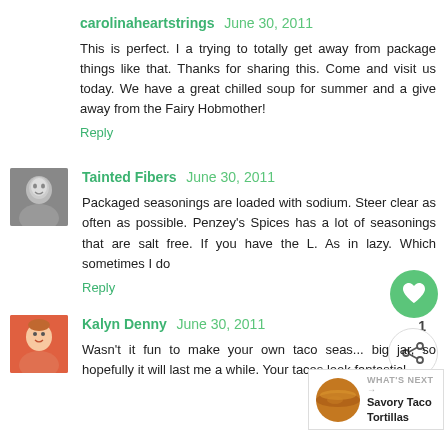carolinaheartstrings June 30, 2011
This is perfect. I a trying to totally get away from package things like that. Thanks for sharing this. Come and visit us today. We have a great chilled soup for summer and a give away from the Fairy Hobmother!
Reply
[Figure (photo): Avatar photo of Tainted Fibers commenter - black and white portrait]
Tainted Fibers June 30, 2011
Packaged seasonings are loaded with sodium. Steer clear as often as possible. Penzey's Spices has a lot of seasonings that are salt free. If you have the L. As in lazy. Which sometimes I do
Reply
[Figure (photo): Avatar photo of Kalyn Denny commenter]
Kalyn Denny June 30, 2011
Wasn't it fun to make your own taco seas... big jar, so hopefully it will last me a while. Your tacos look fantastic!
[Figure (infographic): What's Next box with Savory Taco Tortillas and a planet-like food image]